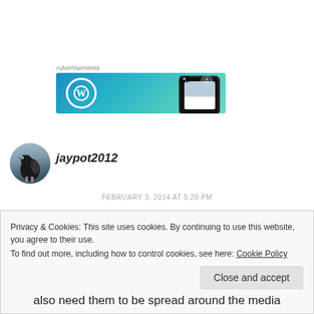Advertisements
[Figure (screenshot): WordPress advertisement banner with WordPress logo and phone mockup on blue-teal gradient background]
[Figure (photo): Avatar/profile image: a dark bird (magpie or jackdaw) against a light sky background, cropped in a circle]
jaypot2012
FEBRUARY 3, 2014 AT 5:20 PM
I hope that we do get the figures of the number
Privacy & Cookies: This site uses cookies. By continuing to use this website, you agree to their use.
To find out more, including how to control cookies, see here: Cookie Policy
Close and accept
also need them to be spread around the media